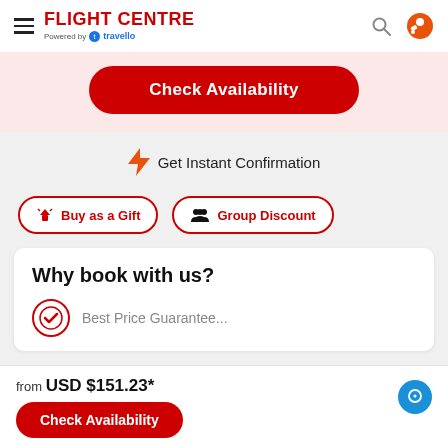FLIGHT CENTRE Powered by travello
Check Availability
Get Instant Confirmation
Buy as a Gift
Group Discount
Why book with us?
Best Price Guarantee
from USD $151.23*
Check Availability